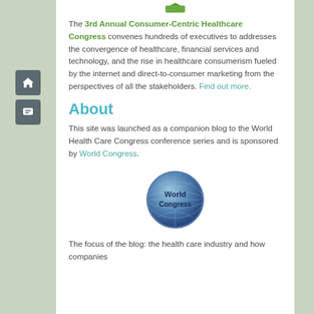The 3rd Annual Consumer-Centric Healthcare Congress convenes hundreds of executives to addresses the convergence of healthcare, financial services and technology, and the rise in healthcare consumerism fueled by the internet and direct-to-consumer marketing from the perspectives of all the stakeholders. Find out more.
About
This site was launched as a companion blog to the World Health Care Congress conference series and is sponsored by World Congress.
[Figure (logo): World Congress globe logo — a blue and grey sphere with 'World Congress' text]
The focus of the blog: the health care industry and how companies